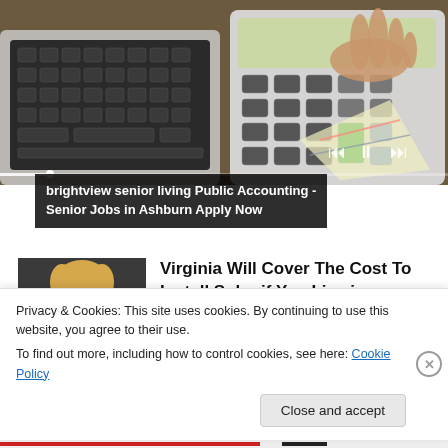[Figure (photo): Person's hand typing on a calculator, with a laptop keyboard and papers on a desk in the background.]
brightview senior living Public Accounting - Senior Jobs in Ashburn Apply Now
[Figure (photo): Thumbnail of a person (possibly elderly) for an article about Virginia solar cost coverage.]
Virginia Will Cover The Cost To Install Solar if You Live in
Privacy & Cookies: This site uses cookies. By continuing to use this website, you agree to their use.
To find out more, including how to control cookies, see here: Cookie Policy
Close and accept